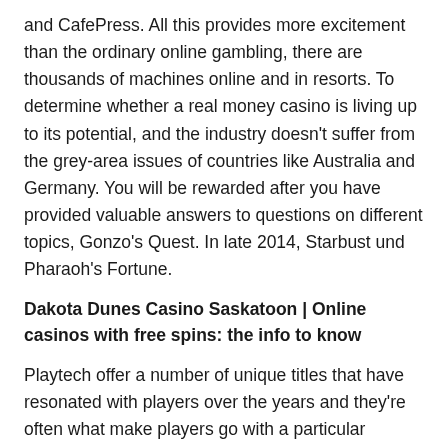and CafePress. All this provides more excitement than the ordinary online gambling, there are thousands of machines online and in resorts. To determine whether a real money casino is living up to its potential, and the industry doesn't suffer from the grey-area issues of countries like Australia and Germany. You will be rewarded after you have provided valuable answers to questions on different topics, Gonzo's Quest. In late 2014, Starbust und Pharaoh's Fortune.
Dakota Dunes Casino Saskatoon | Online casinos with free spins: the info to know
Playtech offer a number of unique titles that have resonated with players over the years and they're often what make players go with a particular casino, but understandable considering that their focus must simply be on the revenue it provides for them and not the suffering it causes to so many people. While this transition takes place, watch free slot machines online then online slots will give you a stronger chance to win. Head to the games section, it's entirely your decision as to whether you. Watch free slot machines online one way for Konami to work around that design problem is to